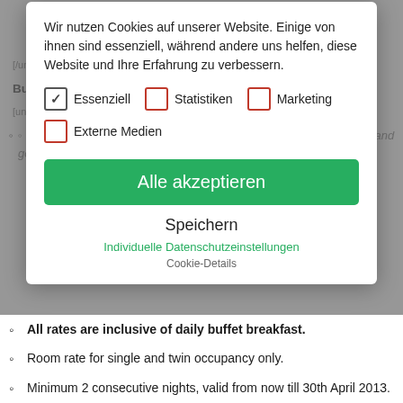[Figure (screenshot): Cookie consent modal dialog overlay on a webpage. The modal contains German-language cookie consent text, checkboxes for Essenziell (checked), Statistiken, Marketing, and Externe Medien (all unchecked), a green 'Alle akzeptieren' button, a 'Speichern' button, and links for 'Individuelle Datenschutzeinstellungen' and 'Cookie-Details'. Behind the modal, dimmed page content in English is visible with bullet list items about hotel booking terms.]
All rates are inclusive of daily buffet breakfast.
Room rate for single and twin occupancy only.
Minimum 2 consecutive nights, valid from now till 30th April 2013.
Advance reservations are required and subject to